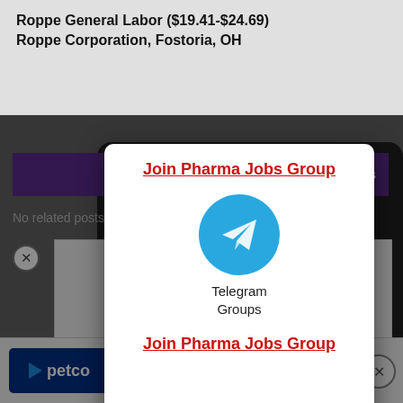Roppe General Labor ($19.41-$24.69)
Roppe Corporation, Fostoria, OH
re Jobs
No related posts
[Figure (screenshot): Telegram Groups popup modal with 'Join Pharma Jobs Group' link (red, underlined, bold), Telegram logo (blue circle with paper plane), text 'Telegram Groups', and second 'Join Pharma Jobs Group' link]
[Figure (screenshot): WhatsApp Group join banner with teal background and text 'Join our WhatsApp Group']
[Figure (screenshot): Video player showing game footage with play button overlay, labeled 'CRAZIEST WIPE?']
[Figure (logo): Petco logo with blue background and navigation arrow icon advertisement banner at bottom]
[Figure (screenshot): Red circle with X close button for WhatsApp banner]